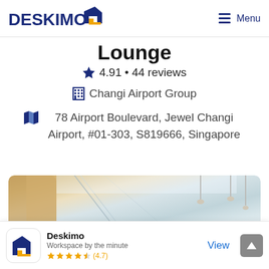DESKIMO   Menu
Lounge
4.91 • 44 reviews
Changi Airport Group
78 Airport Boulevard, Jewel Changi Airport, #01-303, S819666, Singapore
[Figure (photo): Interior photo of a lounge space with light-colored ceiling and walls, warm wood paneling visible on left side, pendant lights on right]
Deskimo
Workspace by the minute
★★★★☆ (4.7)
View